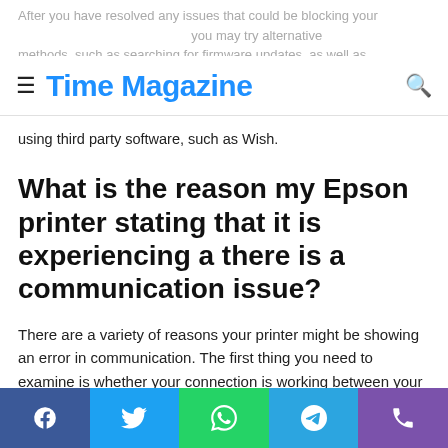Time Magazine
After you have resolved any issues that could be blocking your printer, you may try alternative methods, such as searching for firmware updates, as well as using third party software, such as Wish.
What is the reason my Epson printer stating that it is experiencing a there is a communication issue?
There are a variety of reasons your printer might be showing an error in communication. The first thing you need to examine is whether your connection is working between your computer and printer and ensure that there isn't any loose cables or obstructions.